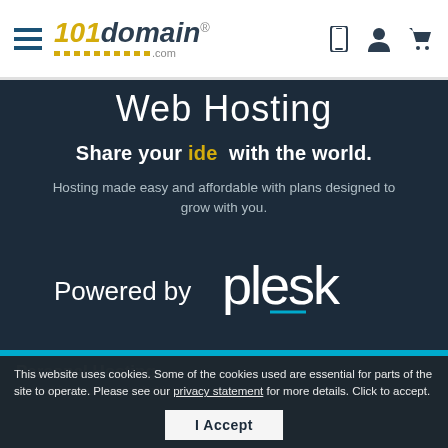101domain.com navigation header with hamburger menu, logo, phone icon, user icon, cart icon
Web Hosting
Share your ide  with the world.
Hosting made easy and affordable with plans designed to grow with you.
[Figure (logo): Powered by plesk logo with teal underline accent]
Personal Hosting
Perfect for your blog or hobby site
This website uses cookies. Some of the cookies used are essential for parts of the site to operate. Please see our privacy statement for more details. Click to accept.
I Accept